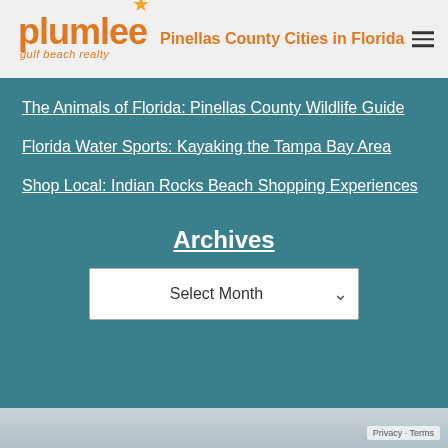[Figure (logo): Plumlee Gulf Beach Realty logo with orange star and orange text]
Pinellas County Cities in Florida
The Animals of Florida: Pinellas County Wildlife Guide
Florida Water Sports: Kayaking the Tampa Bay Area
Shop Local: Indian Rocks Beach Shopping Experiences
Archives
Select Month
Privacy · Terms